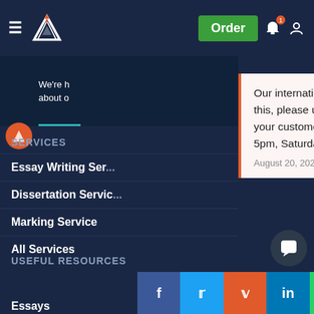Navigation bar with hamburger menu, logo, Order button, notification bell, and user icon
We're h... about o...
Our international phone number (+971 600 575 297) is currently out of service. Whilst we fix this, please use the alternative phone numbers provided on the contact page, message through your customer account or click the WhatsApp button from your mobile (Monday – Friday 9am – 5pm, Saturday 10am – 6pm UK time).
August 20, 2022
SERVICES
Essay Writing Ser...
Dissertation Servic...
Marking Service
All Services
USEFUL RESOURCES
Essays
[Figure (infographic): Social sharing buttons row: Facebook (blue), Twitter (blue), Reddit (orange-red), LinkedIn (blue), WhatsApp (teal), Mendeley (red), ResearchGate (teal)]